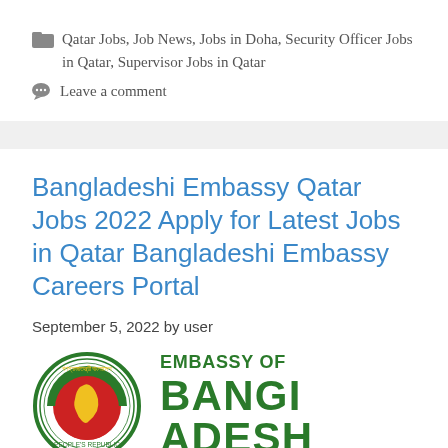Qatar Jobs, Job News, Jobs in Doha, Security Officer Jobs in Qatar, Supervisor Jobs in Qatar
Leave a comment
Bangladeshi Embassy Qatar Jobs 2022 Apply for Latest Jobs in Qatar Bangladeshi Embassy Careers Portal
September 5, 2022 by user
[Figure (logo): Embassy of Bangladesh official seal/logo with green circular text and red/yellow map of Bangladesh, next to bold green text reading EMBASSY OF BANGLADESH]